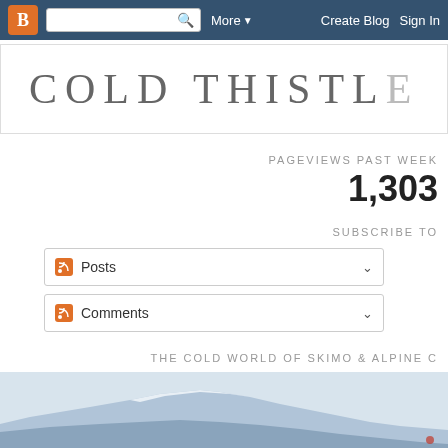Blogger navbar with logo, search box, More, Create Blog, Sign In
COLD THISTL…
PAGEVIEWS PAST WEEK
1,303
SUBSCRIBE TO
Posts
Comments
THE COLD WORLD OF SKIMO & ALPINE C…
[Figure (photo): Snow-covered mountain ridge with pale blue-grey sky background, partial view of a climber or skier at the bottom right]